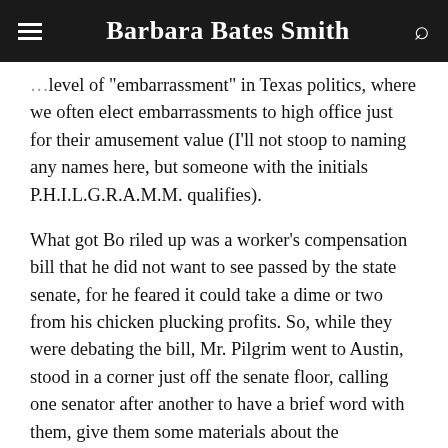Barbara Bates Smith
level of "embarrassment" in Texas politics, where we often elect embarrassments to high office just for their amusement value (I'll not stoop to naming any names here, but someone with the initials P.H.I.L.G.R.A.M.M. qualifies).
What got Bo riled up was a worker's compensation bill that he did not want to see passed by the state senate, for he feared it could take a dime or two from his chicken plucking profits. So, while they were debating the bill, Mr. Pilgrim went to Austin, stood in a corner just off the senate floor, calling one senator after another to have a brief word with them, give them some materials about the